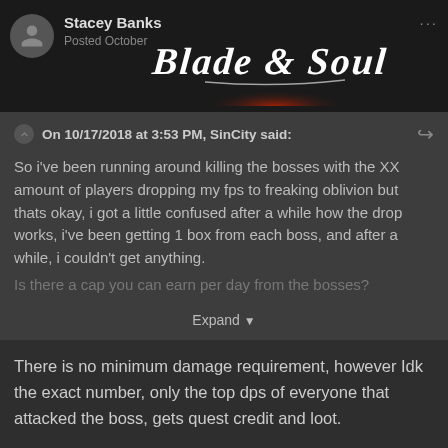Stacey Banks
Posted October...
On 10/17/2018 at 3:53 PM, SinCity said:
So i've been running around killing the bosses with the XX amount of players dropping my fps to freaking oblivion but thats okay, i got a little confused after a while how the drop works, i've been getting 1 box from each boss, and after a while, i couldn't get anything.
Is there a cap you can earn per day from the bosses?
Expand
There is no minimum damage requirement, however Idk the exact number, only the top dps of everyone that attacked the boss, gets quest credit and loot.